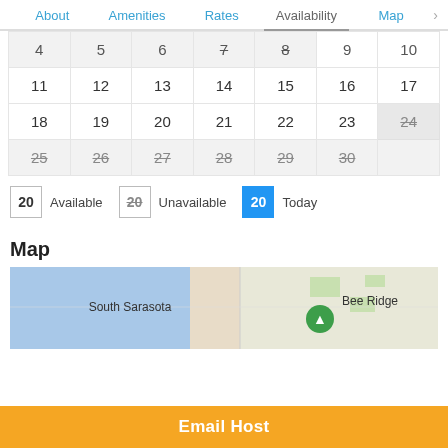About | Amenities | Rates | Availability | Map >
| 4 | 5 | 6 | 7 | 8 | 9 | 10 |
| 11 | 12 | 13 | 14 | 15 | 16 | 17 |
| 18 | 19 | 20 | 21 | 22 | 23 | 24 |
| 25 | 26 | 27 | 28 | 29 | 30 |  |
20 Available   20 (strikethrough) Unavailable   20 Today
Map
[Figure (map): Map showing South Sarasota and Bee Ridge area with a green location pin marker]
Email Host